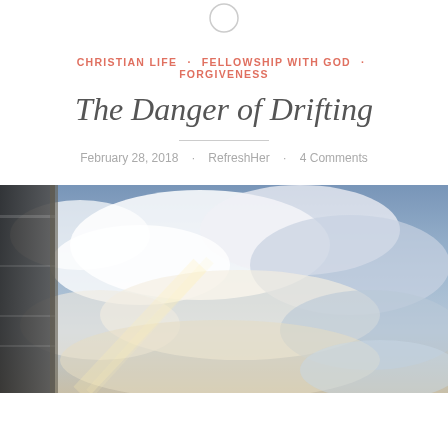CHRISTIAN LIFE · FELLOWSHIP WITH GOD · FORGIVENESS
The Danger of Drifting
February 28, 2018 · RefreshHer · 4 Comments
[Figure (photo): Sky with clouds and a building edge on the left, taken from low angle looking upward]